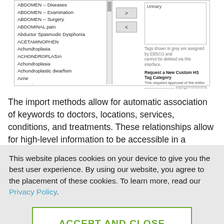[Figure (screenshot): UI screenshot showing a keyword/tag selection interface with a list box on the left containing medical terms (ABDOMEN -- Diseases, ABDOMEN -- Examination, etc.), arrow buttons in the middle (> and <), and a right panel with a selected tag box showing 'Urinary', grey note about EBSCO-assigned tags, and a 'Request a New Custom HS Tag Category' section with input and Request Tag button.]
The import methods allow for automatic association of keywords to doctors, locations, services, conditions, and treatments. These relationships allow for high-level information to be accessible in a
This website places cookies on your device to give you the best user experience. By using our website, you agree to the placement of these cookies. To learn more, read our Privacy Policy.
ACCEPT AND CLOSE